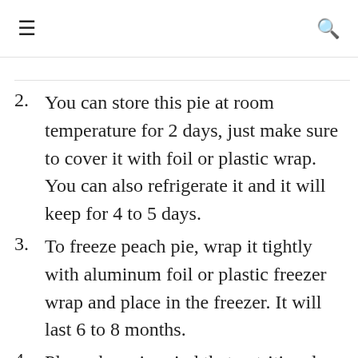≡  🔍
2. You can store this pie at room temperature for 2 days, just make sure to cover it with foil or plastic wrap. You can also refrigerate it and it will keep for 4 to 5 days.
3. To freeze peach pie, wrap it tightly with aluminum foil or plastic freezer wrap and place in the freezer. It will last 6 to 8 months.
4. Please keep in mind that nutritional information is an estimation and...